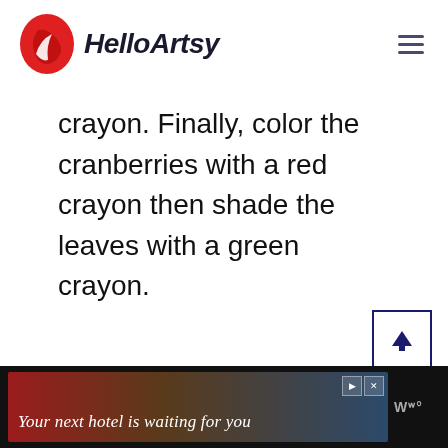HelloArtsy
crayon. Finally, color the cranberries with a red crayon then shade the leaves with a green crayon.
[Figure (other): Scroll-to-top button with upward arrow in dark navy border]
[Figure (other): Advertisement banner: 'Your next hotel is waiting for you' with landscape photo background on dark background]